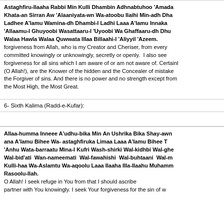Astaghfiru-Ilaaha Rabbi Min Kulli Dhambin Adhnabtuhoo 'Amada Khata-an Sirran Aw 'Alaaniyata-wn Wa-atoobu Ilaihi Min-adh Dha Ladhee A'lamu Wamina-dh Dhambi-l Ladhi Laaa A'lamu Innaka 'Allaamu-l Ghuyoobi Wasattaaru-l 'Uyoobi Wa Ghaffaaru-dh Dhu Walaa Hawla Walaa Quwwata Illaa Billaahi-l 'Aliyyil 'Azeem. forgiveness from Allah, who is my Creator and Cheriser, from every committed knowingly or unknowingly, secretly or openly. I also see forgiveness for all sins which I am aware of or am not aware of. Certainl (O Allah!), are the Knower of the hidden and the Concealer of mistake the Forgiver of sins. And there is no power and no strength except from the Most High, the Most Great.
6- Sixth Kalima (Radd-e-Kufar):
Allaa-humma Inneee A'udhu-bika Min An Ushrika Bika Shay-awn ana A'lamu Bihee Wa- astaghfiruka Limaa Laaa A'lamu Bihee T 'Anhu Wata-barraatu Mina-l Kufri Wash-shirki Wal-kidhbi Wal-ghe Wal-bid'ati Wan-nameemati Wal-fawahishi Wal-buhtaani Wal-m Kulli-haa Wa-Aslamtu Wa-aqoolu Laaa Ilaaha Illa-Ilaahu Muhamm Rasoolu-llah. O Allah! I seek refuge in You from that I should ascrib partner with You knowingly. I seek Your forgiveness for the sin of w